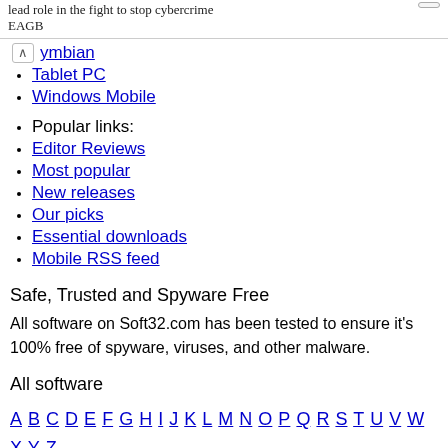lead role in the fight to stop cybercrime EAGB
ymbian
Tablet PC
Windows Mobile
Popular links:
Editor Reviews
Most popular
New releases
Our picks
Essential downloads
Mobile RSS feed
Safe, Trusted and Spyware Free
All software on Soft32.com has been tested to ensure it's 100% free of spyware, viruses, and other malware.
All software
A B C D E F G H I J K L M N O P Q R S T U V W X Y Z Other software
Home
Submit Soft...